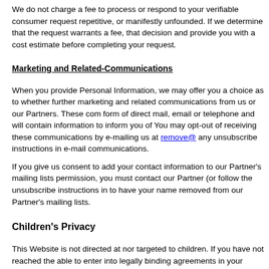We do not charge a fee to process or respond to your verifiable consumer reques... repetitive, or manifestly unfounded. If we determine that the request warrants a fe... that decision and provide you with a cost estimate before completing your reques...
Marketing and Related-Communications
When you provide Personal Information, we may offer you a choice as to whethe... further marketing and related communications from us or our Partners. These co... form of direct mail, email or telephone and will contain information to inform you o... You may opt-out of receiving these communications by e-mailing us at remove@... any unsubscribe instructions in e-mail communications.
If you give us consent to add your contact information to our Partner's mailing list... permission, you must contact our Partner (or follow the unsubscribe instructions i... to have your name removed from our Partner's mailing lists.
Children's Privacy
This Website is not directed at nor targeted to children. If you have not reached th... able to enter into legally binding agreements in your country, you may not use thi... parental consent has been obtained. If you believe that we have received informa... under child protection laws where necessary parental consent was not obtained,... and we will take reasonable steps to securely remove that information.
Other California Privacy Rights
California's "Shine the Light" law (Civil Code Section §1798.83) permits users of... residents to request certain information regarding our disclosure of personal infor... direct marketing purposes. To make such a request, please send an email to priv...